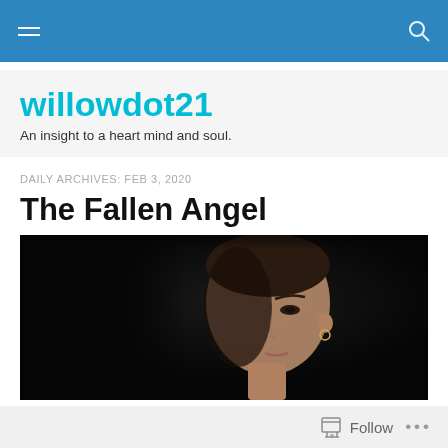willowdot21 — navigation bar
willowdot21
An insight to a heart mind and soul.
DAILY ARCHIVES: FEB 3, 2020
The Fallen Angel
[Figure (photo): Close-up portrait of a woman against a dark/black background, face partially in shadow, hair pulled back, wearing a small gold hoop earring]
Follow   ...